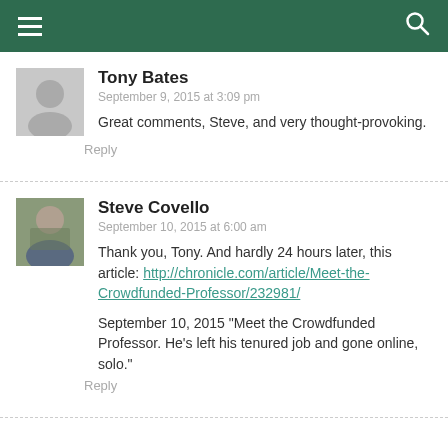Tony Bates
September 9, 2015 at 3:09 pm
Great comments, Steve, and very thought-provoking.
Reply
Steve Covello
September 10, 2015 at 6:00 am
Thank you, Tony. And hardly 24 hours later, this article: http://chronicle.com/article/Meet-the-Crowdfunded-Professor/232981/
September 10, 2015 "Meet the Crowdfunded Professor. He's left his tenured job and gone online, solo."
Reply